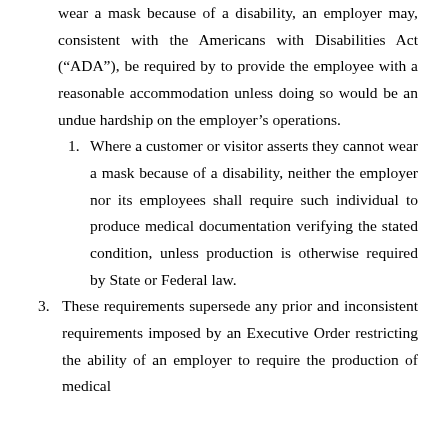wear a mask because of a disability, an employer may, consistent with the Americans with Disabilities Act (“ADA”), be required by to provide the employee with a reasonable accommodation unless doing so would be an undue hardship on the employer’s operations.
1. Where a customer or visitor asserts they cannot wear a mask because of a disability, neither the employer nor its employees shall require such individual to produce medical documentation verifying the stated condition, unless production is otherwise required by State or Federal law.
3. These requirements supersede any prior and inconsistent requirements imposed by an Executive Order restricting the ability of an employer to require the production of medical